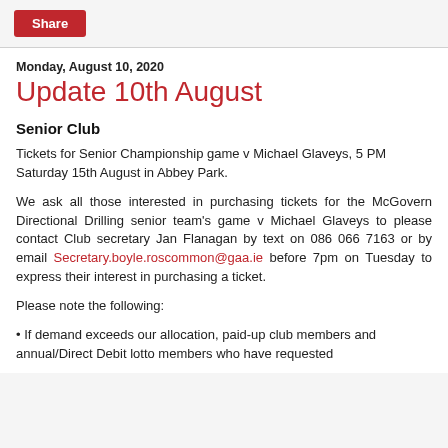Share
Monday, August 10, 2020
Update 10th August
Senior Club
Tickets for Senior Championship game v Michael Glaveys, 5 PM Saturday 15th August in Abbey Park.
We ask all those interested in purchasing tickets for the McGovern Directional Drilling senior team's game v Michael Glaveys to please contact Club secretary Jan Flanagan by text on 086 066 7163 or by email Secretary.boyle.roscommon@gaa.ie before 7pm on Tuesday to express their interest in purchasing a ticket.
Please note the following:
• If demand exceeds our allocation, paid-up club members and annual/Direct Debit lotto members who have requested